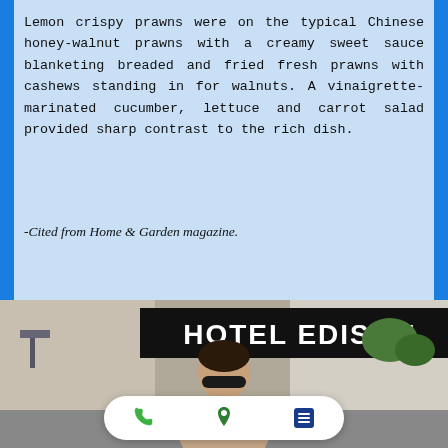Lemon crispy prawns were on the typical Chinese honey-walnut prawns with a creamy sweet sauce blanketing breaded and fried fresh prawns with cashews standing in for walnuts. A vinaigrette-marinated cucumber, lettuce and carrot salad provided sharp contrast to the rich dish.
-Cited from Home & Garden magazine.
[Figure (photo): A man wearing sunglasses smiling in front of a Hotel Edison sign on a city street, with action bar buttons (phone, location pin, list) overlaid at the bottom.]